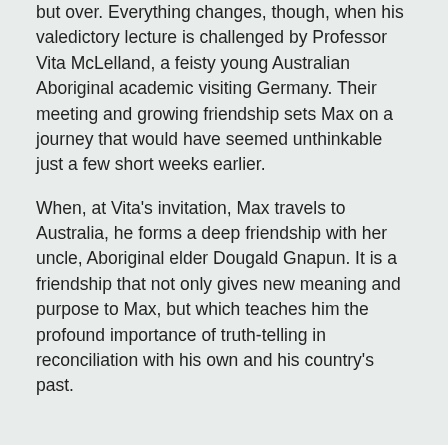but over. Everything changes, though, when his valedictory lecture is challenged by Professor Vita McLelland, a feisty young Australian Aboriginal academic visiting Germany. Their meeting and growing friendship sets Max on a journey that would have seemed unthinkable just a few short weeks earlier.
When, at Vita's invitation, Max travels to Australia, he forms a deep friendship with her uncle, Aboriginal elder Dougald Gnapun. It is a friendship that not only gives new meaning and purpose to Max, but which teaches him the profound importance of truth-telling in reconciliation with his own and his country's past.
HOME   OUR IMPRINTS   BOOKS
About Us   Allen & Unwin